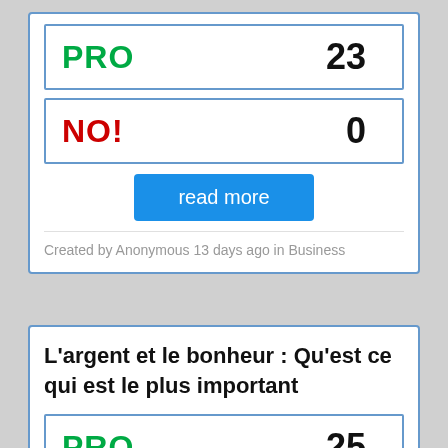| Label | Count |
| --- | --- |
| PRO | 23 |
| NO! | 0 |
read more
Created by Anonymous 13 days ago in Business
L'argent et le bonheur : Qu'est ce qui est le plus important
| Label | Count |
| --- | --- |
| PRO | 25 |
| NO! |  |